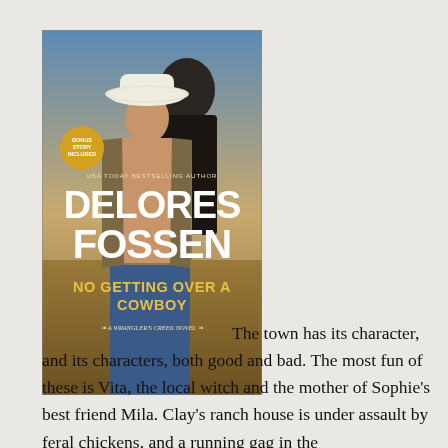[Figure (photo): Book cover of 'No Getting Over a Cowboy' by Delores Fossen, a Wrangler's Creek Novel. Shows a shirtless cowboy in an open flannel shirt wearing a white cowboy hat, standing in a field. A woman in a dark hat stands behind him. A gold 'Bonus Story Included' badge appears in the upper left. Text reads: USA Today Bestselling Author, DELORES FOSSEN, NO GETTING OVER A COWBOY, A Wrangler's Creek Novel.]
The town has its character, and its characters, both good and bad. The most fun of these is Vita, the local witch and the mother of Sophie's best friend Mila. Clay's ranch house is under assault by feral chickens, and a running gag in the